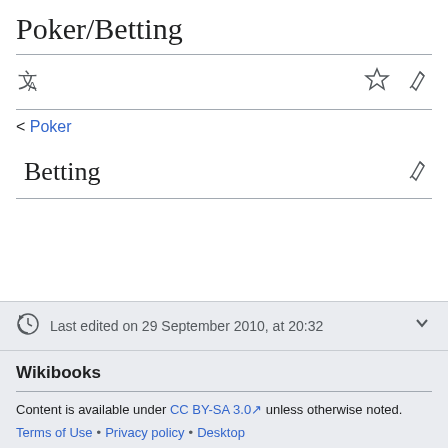Poker/Betting
< Poker
Betting
Last edited on 29 September 2010, at 20:32
Wikibooks
Content is available under CC BY-SA 3.0 unless otherwise noted.
Terms of Use • Privacy policy • Desktop